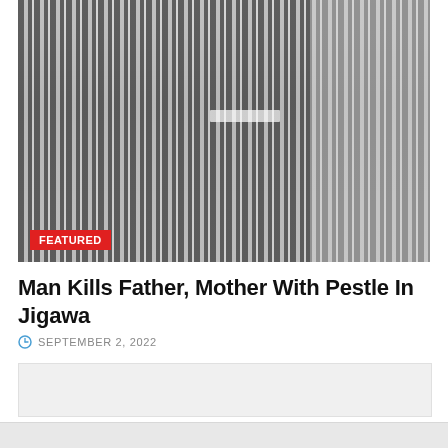[Figure (photo): A person wearing a grey and white striped garment, photographed from the torso down, standing on a tiled floor. A red 'FEATURED' badge overlays the bottom-left corner of the image.]
Man Kills Father, Mother With Pestle In Jigawa
SEPTEMBER 2, 2022